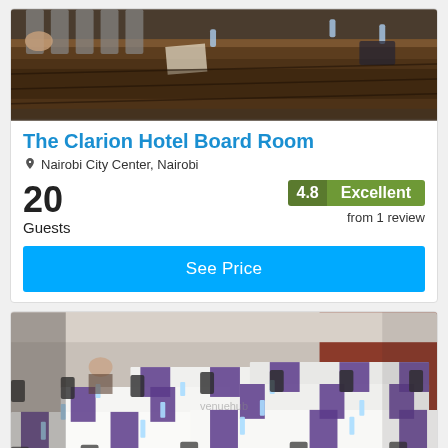[Figure (photo): Conference room with a long dark wooden table, chairs, and water bottles — The Clarion Hotel Board Room interior]
The Clarion Hotel Board Room
Nairobi City Center, Nairobi
20 Guests
4.8 Excellent from 1 review
See Price
[Figure (photo): Conference/meeting room set up with white tablecloths, purple runners, water bottles, chairs arranged in U-shape layout]